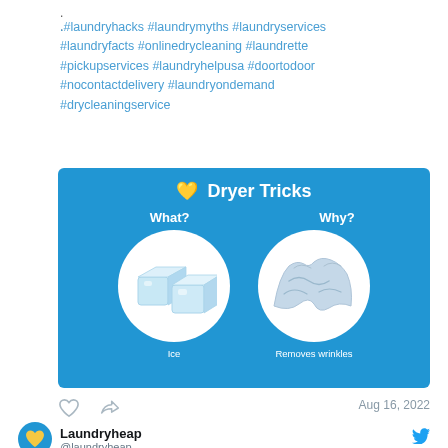.
.
.#laundryhacks #laundrymyths #laundryservices #laundryfacts #onlinedrycleaning #laundrette #pickupservices #laundryhelpusa #doortodoor #nocontactdelivery #laundryondemand #drycleaningservice
[Figure (infographic): Blue infographic card titled 'Dryer Tricks' with two circular images: left circle shows ice cubes labeled 'Ice', right circle shows a wrinkled shirt labeled 'Removes wrinkles'. Columns headed 'What?' and 'Why?'. Yellow heart emoji in title.]
Aug 16, 2022
Laundryheap
@laundryheap